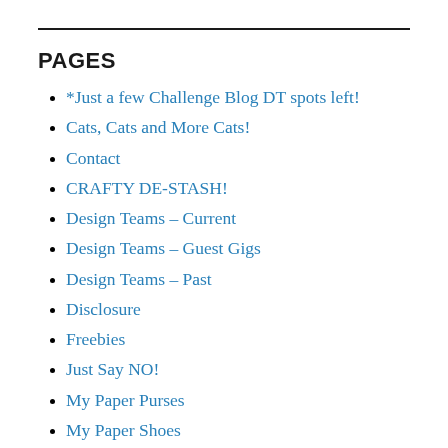PAGES
*Just a few Challenge Blog DT spots left!
Cats, Cats and More Cats!
Contact
CRAFTY DE-STASH!
Design Teams – Current
Design Teams – Guest Gigs
Design Teams – Past
Disclosure
Freebies
Just Say NO!
My Paper Purses
My Paper Shoes